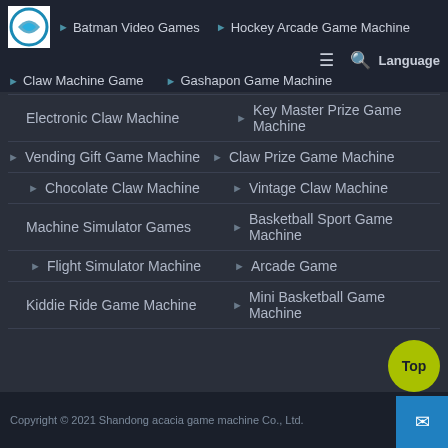Batman Video Games | Hockey Arcade Game Machine | Claw Machine Game | Gashapon Game Machine
Electronic Claw Machine
Key Master Prize Game Machine
Vending Gift Game Machine
Claw Prize Game Machine
Chocolate Claw Machine
Vintage Claw Machine
Machine Simulator Games
Basketball Sport Game Machine
Flight Simulator Machine
Arcade Game
Kiddie Ride Game Machine
Mini Basketball Game Machine
Copyright © 2021 Shandong acacia game machine Co., Ltd.